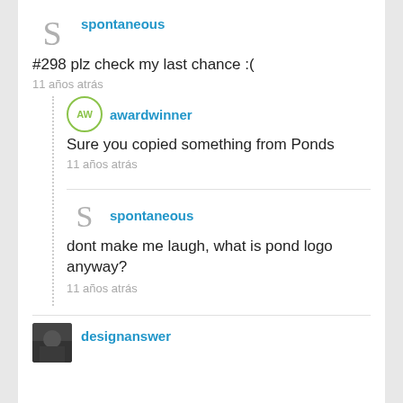spontaneous
#298 plz check my last chance :(
11 años atrás
awardwinner
Sure you copied something from Ponds
11 años atrás
spontaneous
dont make me laugh, what is pond logo anyway?
11 años atrás
designanswer